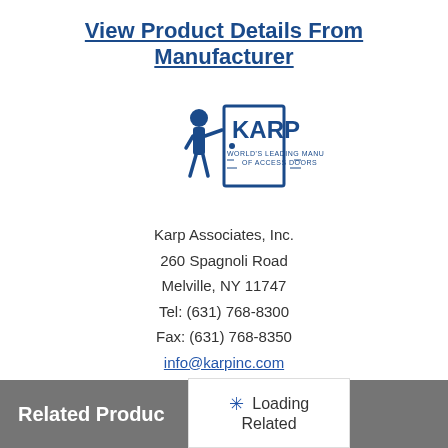View Product Details From Manufacturer
[Figure (logo): Karp Associates logo — figure of a person opening a door with KARP text and tagline 'World's Leading Manufacturer of Access Doors']
Karp Associates, Inc.
260 Spagnoli Road
Melville, NY 11747
Tel: (631) 768-8300
Fax: (631) 768-8350
info@karpinc.com
http://karpinc.com/
Find a rep/distributor
Request More Info
Related Products
Loading Related